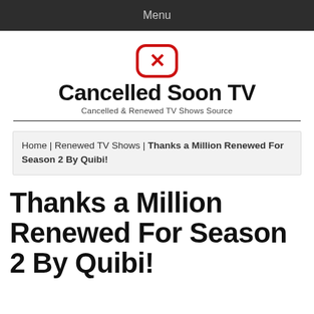Menu
[Figure (logo): Cancelled Soon TV logo: red rounded square with white X icon]
Cancelled Soon TV
Cancelled & Renewed TV Shows Source
Home | Renewed TV Shows | Thanks a Million Renewed For Season 2 By Quibi!
Thanks a Million Renewed For Season 2 By Quibi!